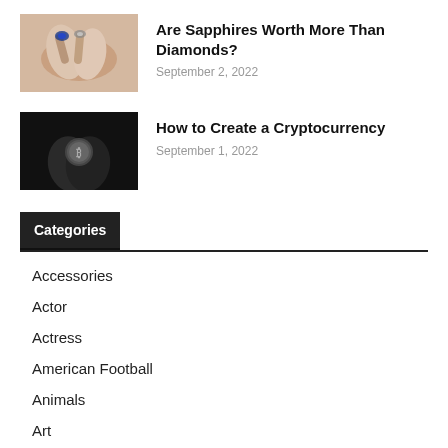[Figure (photo): Hands with sapphire and diamond rings]
Are Sapphires Worth More Than Diamonds?
September 2, 2022
[Figure (photo): Hands holding a Bitcoin coin against dark background]
How to Create a Cryptocurrency
September 1, 2022
Categories
Accessories
Actor
Actress
American Football
Animals
Art
Baseball